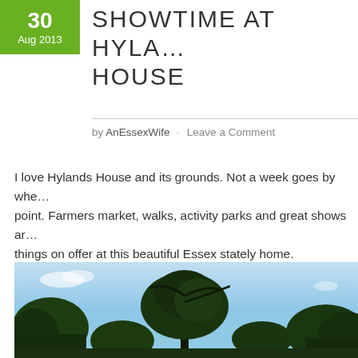SHOWTIME AT HYLA... HOUSE
by AnEssexWife · Leave a Comment
I love Hylands House and its grounds. Not a week goes by whe... point. Farmers market, walks, activity parks and great shows ar... things on offer at this beautiful Essex stately home.
[Figure (photo): A large mature tree silhouetted against a blue sky with scattered clouds; lower portion shows a treeline of dark green foliage, consistent with the grounds of Hylands House, Essex.]